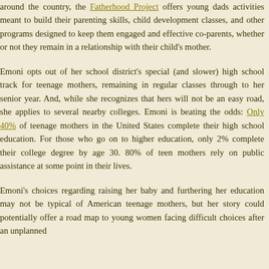around the country, the Fatherhood Project offers young dads activities meant to build their parenting skills, child development classes, and other programs designed to keep them engaged and effective co-parents, whether or not they remain in a relationship with their child's mother.
Emoni opts out of her school district's special (and slower) high school track for teenage mothers, remaining in regular classes through to her senior year. And, while she recognizes that hers will not be an easy road, she applies to several nearby colleges. Emoni is beating the odds: Only 40% of teenage mothers in the United States complete their high school education. For those who go on to higher education, only 2% complete their college degree by age 30. 80% of teen mothers rely on public assistance at some point in their lives.
Emoni's choices regarding raising her baby and furthering her education may not be typical of American teenage mothers, but her story could potentially offer a road map to young women facing difficult choices after an unplanned